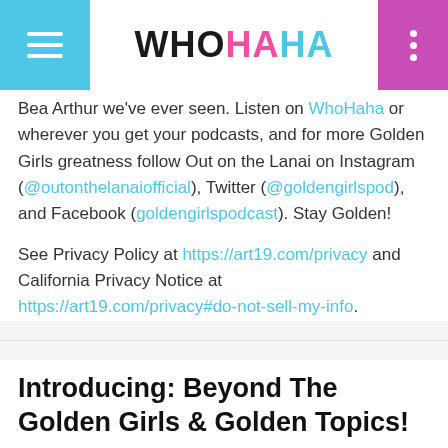WHOHAHA
Bea Arthur we've ever seen. Listen on WhoHaha or wherever you get your podcasts, and for more Golden Girls greatness follow Out on the Lanai on Instagram (@outonthelanaiofficial), Twitter (@goldengirlspod), and Facebook (goldengirlspodcast). Stay Golden!
See Privacy Policy at https://art19.com/privacy and California Privacy Notice at https://art19.com/privacy#do-not-sell-my-info.
Introducing: Beyond The Golden Girls & Golden Topics!
August 24, 2022